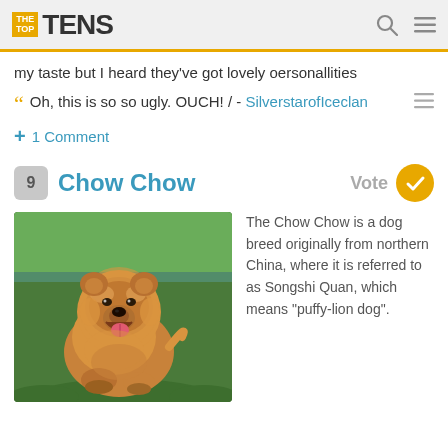THE TOP TENS
my taste but I heard they've got lovely oersonallities
Oh, this is so so ugly. OUCH! / - SilverstarofIceclan
+ 1 Comment
9 Chow Chow
[Figure (photo): Photo of a fluffy golden/brown Chow Chow dog standing on green grass, facing the camera with mouth open and tongue out]
The Chow Chow is a dog breed originally from northern China, where it is referred to as Songshi Quan, which means "puffy-lion dog".